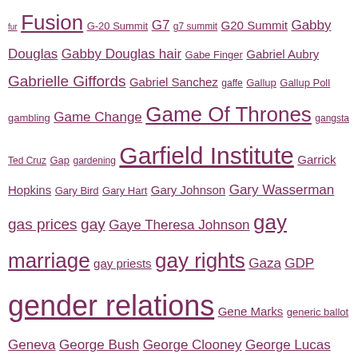fur Fusion G-20 Summit G7 g7 summit G20 Summit Gabby Douglas Gabby Douglas hair Gabe Finger Gabriel Aubry Gabrielle Giffords Gabriel Sanchez gaffe Gallup Gallup Poll gambling Game Change Game Of Thrones gangsta Ted Cruz Gap gardening Garfield Institute Garrick Hopkins Gary Bird Gary Hart Gary Johnson Gary Wasserman gas prices gay Gaye Theresa Johnson gay marriage gay priests gay rights Gaza GDP gender relations Gene Marks generic ballot Geneva George Bush George Clooney George Lucas George Michael George Pataki George Stephanopoulos George Tenet George Terwilliger Georgetown University Doha George W. Bush George Washington Bridge George Will George Zimmerman George Zimmerman grades Georgia Georgia Bulldogs Geraldine Ferraro Gerald Seib German Lopez Germany gerrymandering Gestapo Tactics GetEqual Get Out Get To Know Your Neighbors Gettysburg Gideon Oji GIFs Gifted Hands Gina DeJesus Gin Clarke Ginger White Ginnifer Goodwin Ginni Thomas Girls Glenn Beck Glenn Greenwald glitch Glock Block Gloria Cain Gloria song Gloria Tinubu Golden Globes Golden State Warriors Goldie Taylor Gold Star Families golf Gonzalo Curiel Goodfellas Goodman Gallery GOP